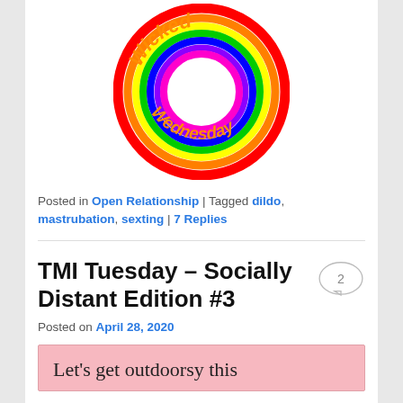[Figure (logo): Wicked Wednesday logo: circular rainbow border with orange text 'Wicked Wednesday' inside on white background]
Posted in Open Relationship | Tagged dildo, mastrubation, sexting | 7 Replies
TMI Tuesday – Socially Distant Edition #3
Posted on April 28, 2020
[Figure (illustration): Pink background box with text: Let's get outdoorsy this]